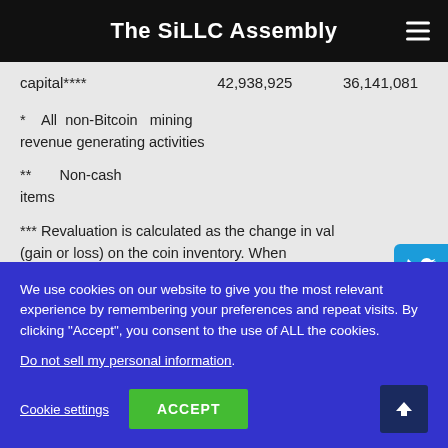The SiLLC Assembly
| capital**** | 42,938,925 | 36,141,081 |
* All non-Bitcoin mining revenue generating activities
** Non-cash items
*** Revaluation is calculated as the change in value (gain or loss) on the coin inventory. When coins are sold, the net difference between proceeds and the carrying value of the digita…
We use cookies on our website to give you the most relevant experience by remembering your preferences and repeat visits. By clicking "Accept", you consent to the use of ALL the cookies.
Do not sell my personal information.